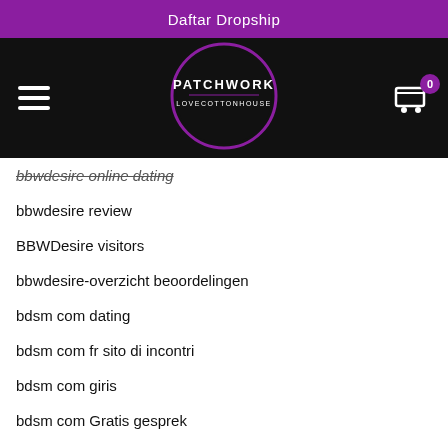Daftar Dropship
[Figure (logo): Patchwork Lovecottonhouse logo - circular logo with text PATCHWORK LOVECOTTONHOUSE on black background, with hamburger menu icon on left and shopping cart with badge '0' on right]
bbwdesire online dating
bbwdesire review
BBWDesire visitors
bbwdesire-overzicht beoordelingen
bdsm com dating
bdsm com fr sito di incontri
bdsm com giris
bdsm com Gratis gesprek